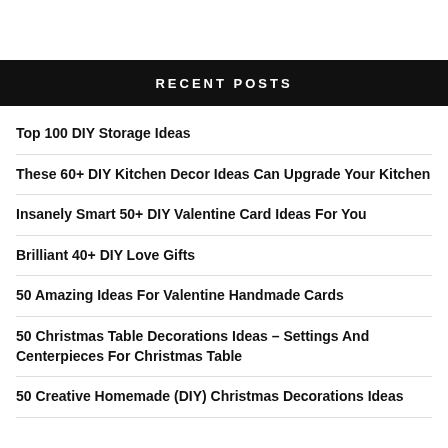Recent Posts
Top 100 DIY Storage Ideas
These 60+ DIY Kitchen Decor Ideas Can Upgrade Your Kitchen
Insanely Smart 50+ DIY Valentine Card Ideas For You
Brilliant 40+ DIY Love Gifts
50 Amazing Ideas For Valentine Handmade Cards
50 Christmas Table Decorations Ideas – Settings And Centerpieces For Christmas Table
50 Creative Homemade (DIY) Christmas Decorations Ideas